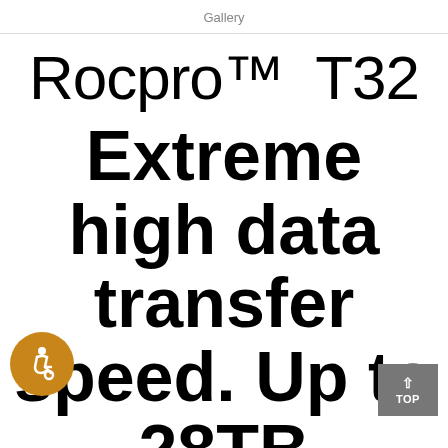Gallery
Rocpro™ T32
Extreme high data transfer speed. Up to 28TB Thunderbolt™